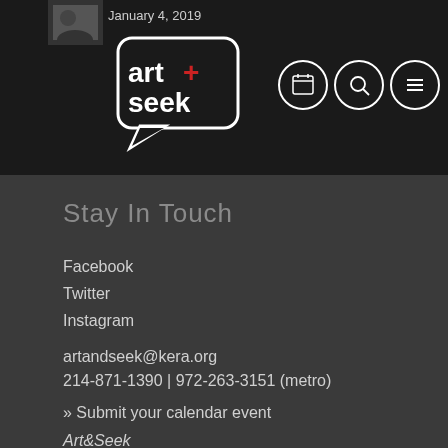January 4, 2019
[Figure (logo): Art+Seek logo — white speech bubble with 'art+seek' text and a red plus sign]
Stay In Touch
Facebook
Twitter
Instagram
artandseek@kera.org
214-871-1390 | 972-263-3151 (metro)
» Submit your calendar event
Art&Seek
KERA Public Radio/Television
3000 Harry Hines Boulevard